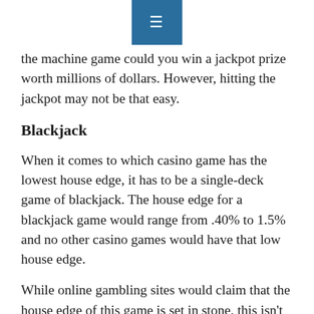≡
the machine game could you win a jackpot prize worth millions of dollars. However, hitting the jackpot may not be that easy.
Blackjack
When it comes to which casino game has the lowest house edge, it has to be a single-deck game of blackjack. The house edge for a blackjack game would range from .40% to 1.5% and no other casino games would have that low house edge.
While online gambling sites would claim that the house edge of this game is set in stone, this isn't the case. Blackjack is a game of skill and you can only really improve your winning chances by studying the game. If you want to keep the house edge low when playing this game, it's best to stick with basic strategies.